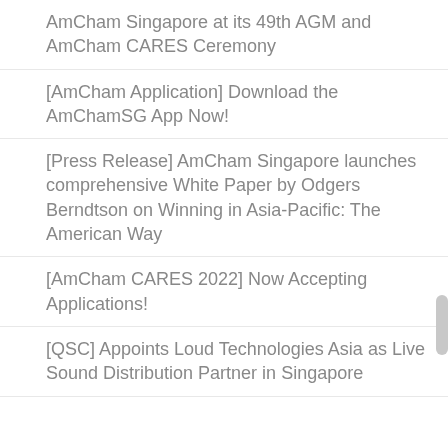AmCham Singapore at its 49th AGM and AmCham CARES Ceremony
[AmCham Application] Download the AmChamSG App Now!
[Press Release] AmCham Singapore launches comprehensive White Paper by Odgers Berndtson on Winning in Asia-Pacific: The American Way
[AmCham CARES 2022] Now Accepting Applications!
[QSC] Appoints Loud Technologies Asia as Live Sound Distribution Partner in Singapore